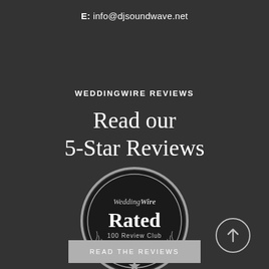E: info@djsoundwave.net
WEDDINGWIRE REVIEWS
Read our 5-Star Reviews
[Figure (logo): WeddingWire Rated 100 Review Club badge — circular black badge with silver border and laurel wreath, displaying 'WeddingWire Rated 100 Review Club' with a star at the bottom]
[Figure (other): Circular scroll-to-top button with upward arrow]
READ THE REVIEWS